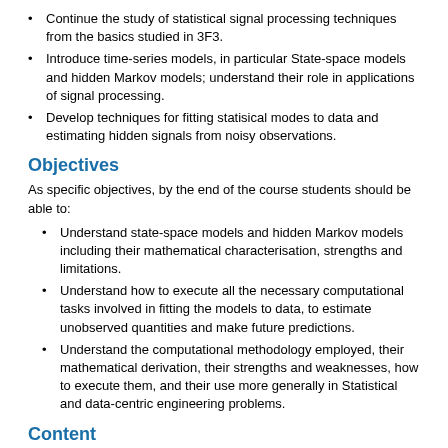Continue the study of statistical signal processing techniques from the basics studied in 3F3.
Introduce time-series models, in particular State-space models and hidden Markov models; understand their role in applications of signal processing.
Develop techniques for fitting statisical modes to data and estimating hidden signals from noisy observations.
Objectives
As specific objectives, by the end of the course students should be able to:
Understand state-space models and hidden Markov models including their mathematical characterisation, strengths and limitations.
Understand how to execute all the necessary computational tasks involved in fitting the models to data, to estimate unobserved quantities and make future predictions.
Understand the computational methodology employed, their mathematical derivation, their strengths and weaknesses, how to execute them, and their use more generally in Statistical and data-centric engineering problems.
Content
This course is about fitting statistical models to data that arrives sequentially over time. Once an appropriate model has been fit, tasks like predicting future trends or estimating quantities not directly observed can